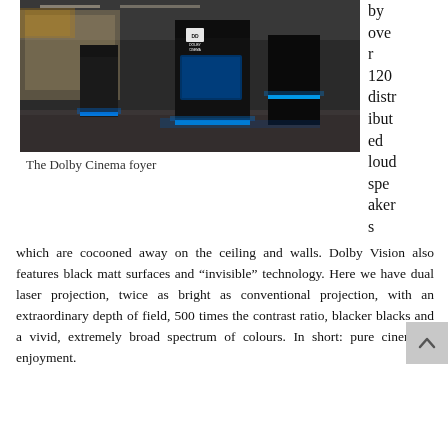[Figure (photo): Interior of the Dolby Cinema foyer showing black display kiosks with blue LED lighting, Dolby Cinema logo signage, and concession area in background.]
The Dolby Cinema foyer
by over r 120 distributed loud speakers which are cocooned away on the ceiling and walls. Dolby Vision also features black matt surfaces and "invisible" technology. Here we have dual laser projection, twice as bright as conventional projection, with an extraordinary depth of field, 500 times the contrast ratio, blacker blacks and a vivid, extremely broad spectrum of colours. In short: pure cinematic enjoyment.